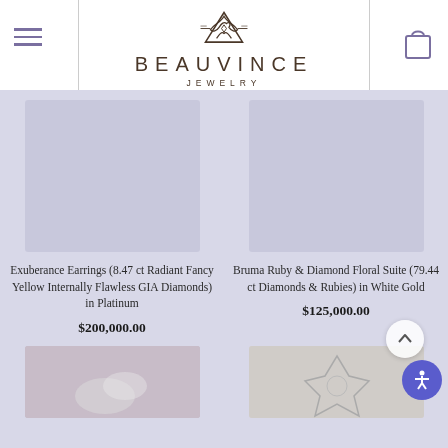[Figure (logo): Beauvince Jewelry logo with Celtic knot triangular symbol above the brand name]
Exuberance Earrings (8.47 ct Radiant Fancy Yellow Internally Flawless GIA Diamonds) in Platinum
$200,000.00
Bruma Ruby & Diamond Floral Suite (79.44 ct Diamonds & Rubies) in White Gold
$125,000.00
[Figure (photo): Product thumbnail bottom left - jewelry item]
[Figure (photo): Product thumbnail bottom right - diamond floral jewelry]